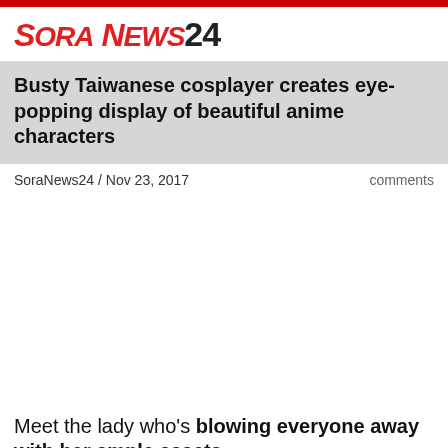SoraNews24
Busty Taiwanese cosplayer creates eye-popping display of beautiful anime characters
SoraNews24 / Nov 23, 2017    comments
[Figure (photo): Image placeholder area (photo not shown)]
Meet the lady who's blowing everyone away with her ample assets.
The dazzling, colourful world of cosplay is filled with homages to characters from all types of animated walks of life, ranging from manga to anime and even online free-to-play role-playing games. While the characters themselves come in many different personalities, one of the